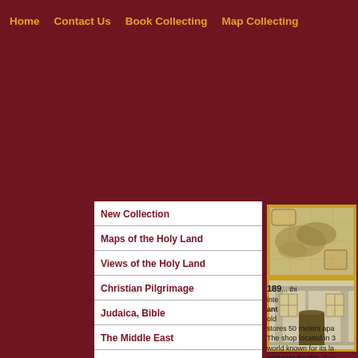Home   Contact Us   Book Collecting   Map Collecting
New Collection
Maps of the Holy Land
Views of the Holy Land
Christian Pilgrimage
Judaica, Bible
The Middle East
Decorative Prints
Art Deco
Fauna and Flora
[Figure (photo): Antique map of the Holy Land with ornate border and cartouche]
[Figure (photo): Facade of a stone building with arched doorway and windows]
189... thirteenth internationally antique... old... stores 50 meters apart. The shop located in 3... world known for its large and rare books of au... Jewish history and a...